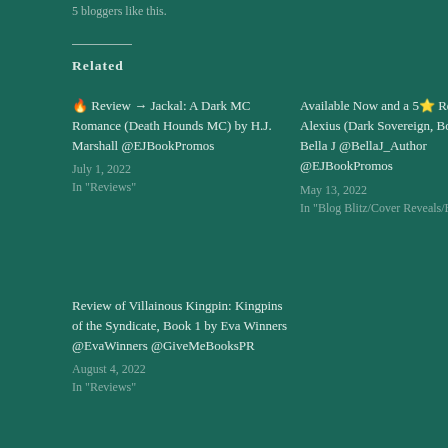5 bloggers like this.
Related
🔥 Review → Jackal: A Dark MC Romance (Death Hounds MC) by H.J. Marshall @EJBookPromos
July 1, 2022
In "Reviews"
Available Now and a 5⭐ Review: Alexius (Dark Sovereign, Book 1) by Bella J @BellaJ_Author @EJBookPromos
May 13, 2022
In "Blog Blitz/Cover Reveals/Blog Tours"
Review of Villainous Kingpin: Kingpins of the Syndicate, Book 1 by Eva Winners @EvaWinners @GiveMeBooksPR
August 4, 2022
In "Reviews"